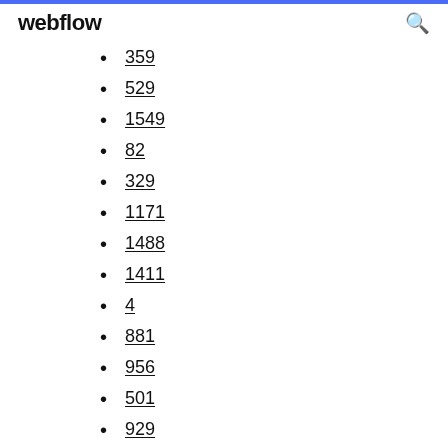webflow
359
529
1549
82
329
1171
1488
1411
4
881
956
501
929